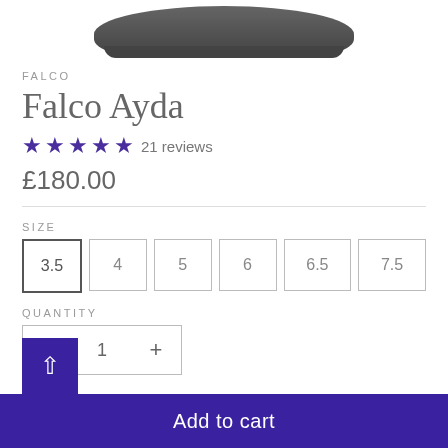[Figure (photo): Partial top view of a dark brown/black shoe product image, cropped at the top of the page]
FALCO
Falco Ayda
★★★★★ 21 reviews
£180.00
SIZE
3.5  4  5  6  6.5  7.5
QUANTITY
- 1 +
Add to cart